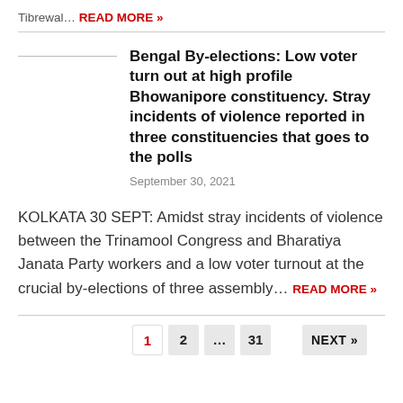Tibrewal... READ MORE »
Bengal By-elections: Low voter turn out at high profile Bhowanipore constituency. Stray incidents of violence reported in three constituencies that goes to the polls
September 30, 2021
KOLKATA 30 SEPT: Amidst stray incidents of violence between the Trinamool Congress and Bharatiya Janata Party workers and a low voter turnout at the crucial by-elections of three assembly… READ MORE »
1  2  ...  31  NEXT »